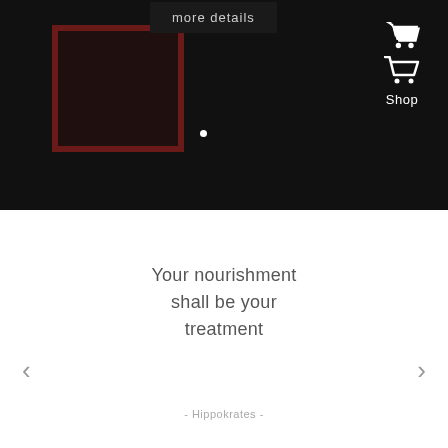[Figure (screenshot): Dark background website hero section with a dark reddish square outline on the left, a 'more details' label/button at top, a shopping cart icon and 'Shop' label on the upper right, and a small white dot indicator in the center]
more details
Shop
Your nourishment shall be your treatment
- Hippokrates -